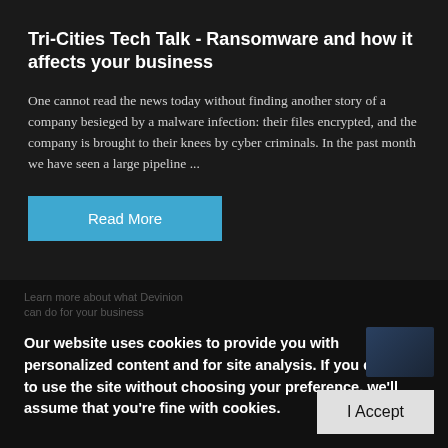Tri-Cities Tech Talk - Ransomware and how it affects your business
One cannot read the news today without finding another story of a company besieged by a malware infection: their files encrypted, and the company is brought to their knees by cyber criminals. In the past month we have seen a large pipeline ...
Read More
Contact Us
Our website uses cookies to provide you with personalized content and for site analysis. If you continue to use the site without choosing your preference, we'll assume that you're fine with cookies.
Devinion
1177 Jadwin Ave STE 101
Richland, Washington 99352
I Accept